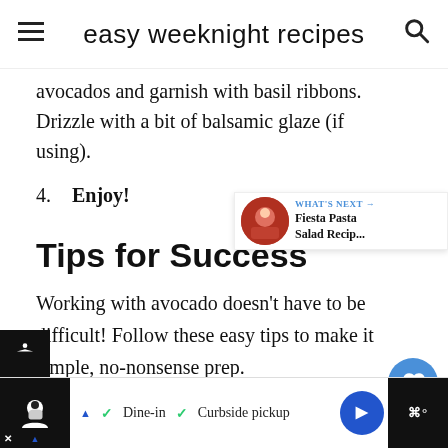easy weeknight recipes
avocados and garnish with basil ribbons. Drizzle with a bit of balsamic glaze (if using).
4. Enjoy!
Tips for Success
Working with avocado doesn't have to be difficult! Follow these easy tips to make simple, no-nonsense prep.
[Figure (other): What's Next overlay showing Fiesta Pasta Salad Recipe thumbnail]
Ad · Dine-in · Curbside pickup